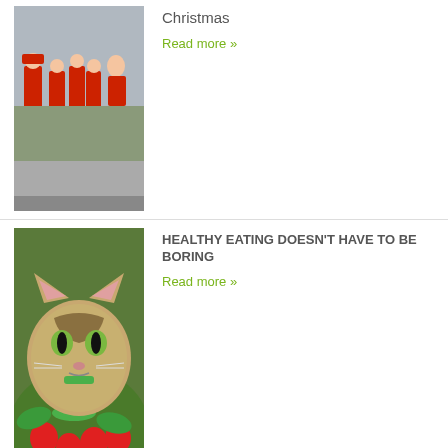[Figure (photo): People dressed as Santa Claus marching, with a woman in red outfit]
Christmas
Read more »
[Figure (photo): Cat face surrounded by salad and strawberries with text overlay]
HEALTHY EATING DOESN'T HAVE TO BE BORING
Read more »
[Figure (photo): Black image with white line drawings and red banner reading INDUSTRY ACCO]
National Minimum Wage Rates
Read more »
LATEST NUTRITION ARTICLES